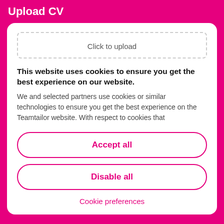Upload CV
Click to upload
This website uses cookies to ensure you get the best experience on our website.
We and selected partners use cookies or similar technologies to ensure you get the best experience on the Teamtailor website. With respect to cookies that
Accept all
Disable all
Cookie preferences